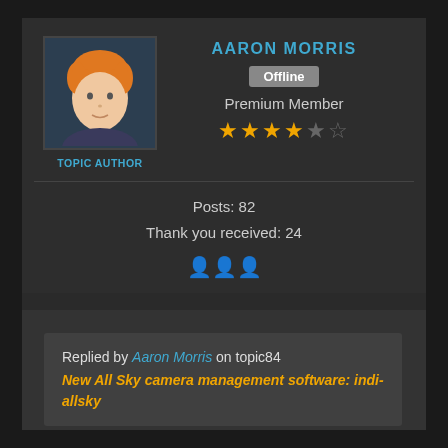[Figure (illustration): Forum user profile card for Aaron Morris showing avatar of a cartoon male face with orange hair on dark blue background, marked as TOPIC AUTHOR below]
AARON MORRIS
Offline
Premium Member
★★★★☆☆ (4 out of 6 stars)
Posts: 82
Thank you received: 24
Replied by Aaron Morris on topic84 New All Sky camera management software: indi-allsky